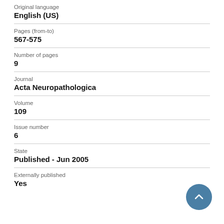Original language
English (US)
Pages (from-to)
567-575
Number of pages
9
Journal
Acta Neuropathologica
Volume
109
Issue number
6
State
Published - Jun 2005
Externally published
Yes